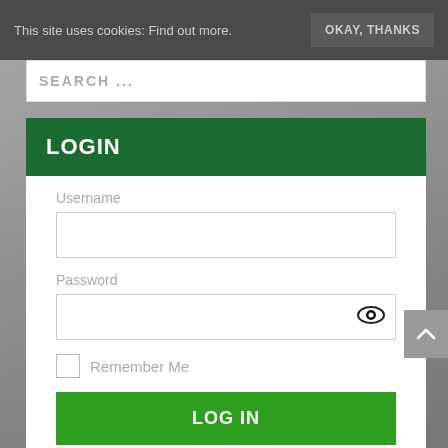This site uses cookies: Find out more.
OKAY, THANKS
SEARCH ...
LOGIN
Username
Password
Remember Me
LOG IN